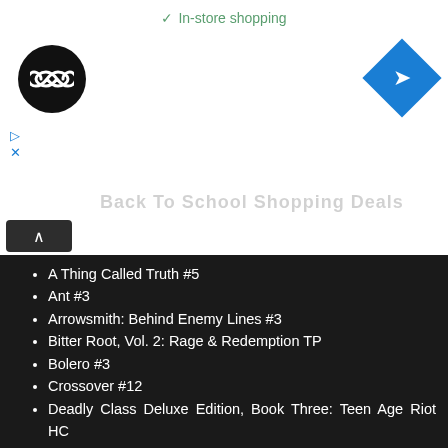✓ In-store shopping
[Figure (logo): Black circle logo with infinity/loop symbol in white]
[Figure (logo): Blue diamond navigation arrow icon]
Back To School Shopping Deals (faded header text)
Astro City Metrobook, Vol. 1 TP
A Thing Called Truth #5
Ant #3
Arrowsmith: Behind Enemy Lines #3
Bitter Root, Vol. 2: Rage & Redemption TP
Bolero #3
Crossover #12
Deadly Class Deluxe Edition, Book Three: Teen Age Riot HC
Deep Beyond, Vol. 2 TP
Fire Power By Kirkman & Samnee, Vol.4: Scorched Earth TP
Frontiersman Vol. 1 TP
God Hates Astronauts: The Omnimegabus